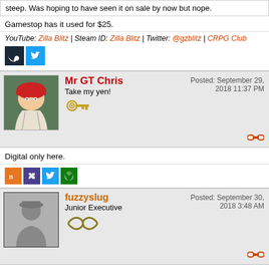steep. Was hoping to have seen it on sale by now but nope.
Gamestop has it used for $25.
YouTube: Zilla Blitz | Steam ID: Zilla Blitz | Twitter: @gzblitz | CRPG Club
[Figure (other): Steam and Twitter social media icons]
Mr GT Chris — Posted: September 29, 2018 11:37 PM — Take my yen! [key emoji]
Digital only here.
[Figure (other): IGN, puzzle, Twitter, Xbox social media icons]
fuzzyslug — Junior Executive — Posted: September 30, 2018 3:48 AM [infinity symbol]
I'm in using my DS copy. Looking forward to playing and the fact that I have a head start make the chances of me beating this one much higher.